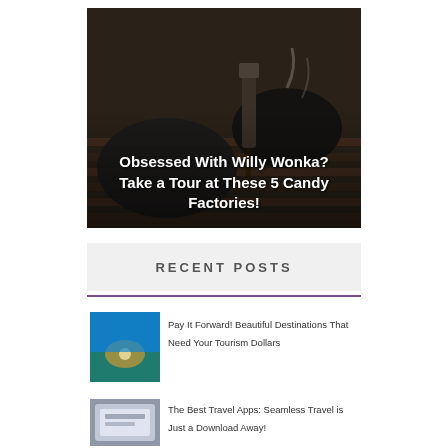[Figure (photo): Person wearing black gloves working with chocolate or candy at a factory production line, with text overlay]
Obsessed With Willy Wonka? Take a Tour at These 5 Candy Factories!
RECENT POSTS
[Figure (photo): Aerial view of a coastal town with blue water, possibly Dubrovnik or similar Mediterranean destination]
Pay It Forward! Beautiful Destinations That Need Your Tourism Dollars
[Figure (photo): Travel apps on a smartphone or tablet]
The Best Travel Apps: Seamless Travel is Just a Download Away!